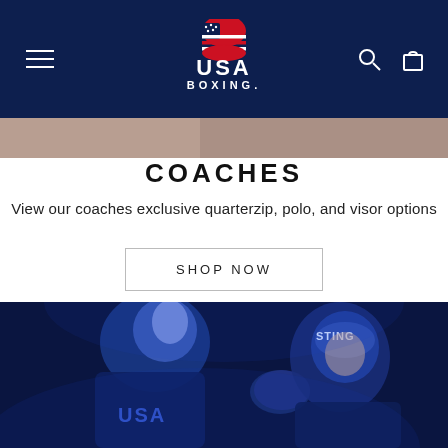USA Boxing navigation bar with logo, hamburger menu, search and cart icons
[Figure (photo): Partial hero image strip showing boxing match scene at top]
COACHES
View our coaches exclusive quarterzip, polo, and visor options
SHOP NOW
[Figure (photo): Two boxers in blue-lit arena, one wearing USA jersey and the other wearing STING headgear, mid-match punch]